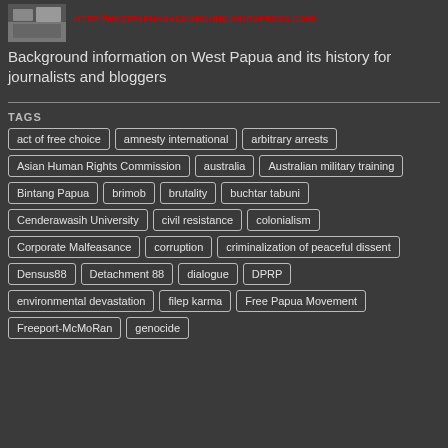HTTP://WESTPAPUABACKGROUND.WORDPRESS.COM/
Background information on West Papua and its history for journalists and bloggers
TAGS
act of free choice
amnesty international
arbitrary arrests
Asian Human Rights Commission
australia
Australian military training
Bintang Papua
brimob
brutality
buchtar tabuni
Cenderawasih University
civil resistance
colonialism
Corporate Malfeasance
corruption
criminalization of peaceful dissent
Densus88
Detachment 88
dialogue
DPRP
environmental devastation
filep karma
Free Papua Movement
Freeport-McMoRan
genocide